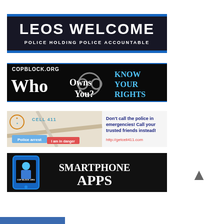[Figure (illustration): Banner ad: LEOS WELCOME - Police Holding Police Accountable, showing silhouettes of police officers on dark background with blue border]
[Figure (illustration): Banner ad: COPBLOCK.ORG - Who Owns You? KNOW YOUR RIGHTS, black background with handcuffs graphic and blue text]
[Figure (illustration): Banner ad: CELL 411 - Don't call the police in emergencies! Call your trusted friends instead! http://getcell411.com, with map graphic]
[Figure (illustration): Banner ad: COP BLOCK .ORG SMARTPHONE APPS, black background with blue smartphone and police officer cartoon graphic]